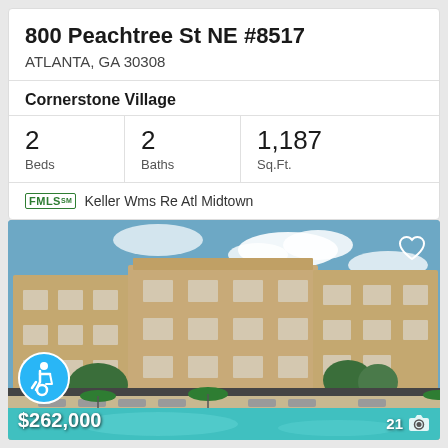800 Peachtree St NE #8517
ATLANTA, GA 30308
Cornerstone Village
| Beds | Baths | Sq.Ft. |
| --- | --- | --- |
| 2 | 2 | 1,187 |
FMLS™  Keller Wms Re Atl Midtown
[Figure (photo): Exterior photo of Cornerstone Village apartment complex showing multi-story tan brick building with balconies, outdoor pool area with lounge chairs and green umbrellas, blue sky with clouds. Accessibility icon badge and $262,000 price tag overlaid at bottom left. Heart icon at top right. Photo count '21' with camera icon at bottom right.]